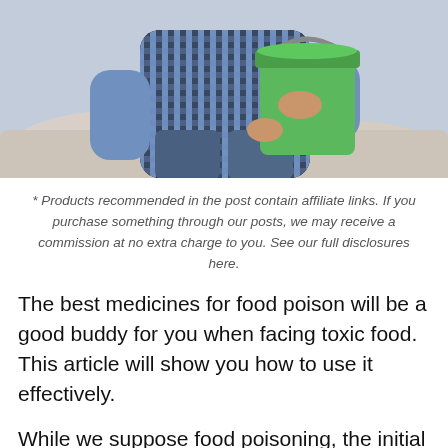[Figure (photo): A person sitting on a couch holding a green bucket (likely feeling nauseous from food poisoning), wearing a blue checkered shirt and jeans.]
* Products recommended in the post contain affiliate links. If you purchase something through our posts, we may receive a commission at no extra charge to you. See our full disclosures here.
The best medicines for food poison will be a good buddy for you when facing toxic food. This article will show you how to use it effectively.
While we suppose food poisoning, the initial one to blame is mostly the bacteria. The research displayed that the present-day circumstance is such that popular sickness such as fever, flu, and cold or the food toxic is quite